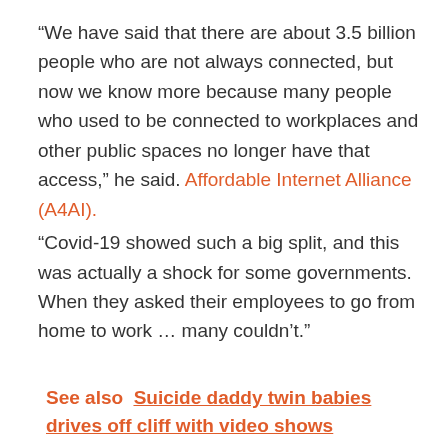“We have said that there are about 3.5 billion people who are not always connected, but now we know more because many people who used to be connected to workplaces and other public spaces no longer have that access,” he said. Affordable Internet Alliance (A4AI).
“Covid-19 showed such a big split, and this was actually a shock for some governments. When they asked their employees to go from home to work … many couldn’t.”
See also  Suicide daddy twin babies drives off cliff with video shows